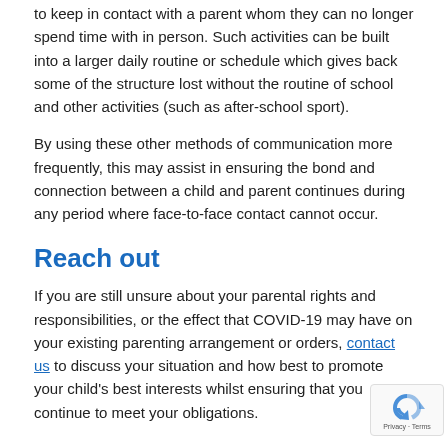to keep in contact with a parent whom they can no longer spend time with in person. Such activities can be built into a larger daily routine or schedule which gives back some of the structure lost without the routine of school and other activities (such as after-school sport).
By using these other methods of communication more frequently, this may assist in ensuring the bond and connection between a child and parent continues during any period where face-to-face contact cannot occur.
Reach out
If you are still unsure about your parental rights and responsibilities, or the effect that COVID-19 may have on your existing parenting arrangement or orders, contact us to discuss your situation and how best to promote your child's best interests whilst ensuring that you continue to meet your obligations.
Shannon Daykin is an Accredited Family Law Specialist and